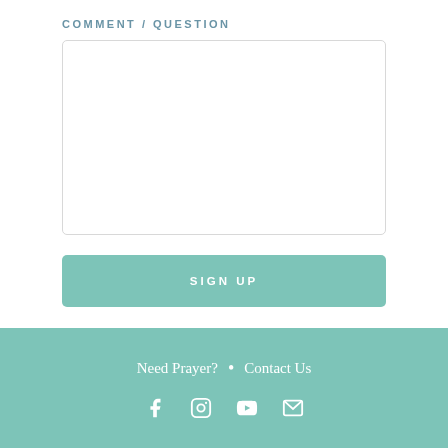COMMENT / QUESTION
[Figure (other): Empty textarea input box with light gray border and rounded corners]
[Figure (other): Teal 'SIGN UP' button with white uppercase text]
Need Prayer?  •  Contact Us
[Figure (other): Social media icons row: Facebook, Instagram, YouTube, Email on teal background]